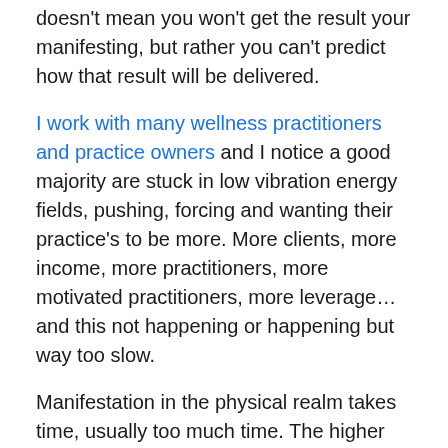doesn't mean you won't get the result your manifesting, but rather you can't predict how that result will be delivered.
I work with many wellness practitioners and practice owners and I notice a good majority are stuck in low vibration energy fields, pushing, forcing and wanting their practice's to be more. More clients, more income, more practitioners, more motivated practitioners, more leverage…and this not happening or happening but way too slow.
Manifestation in the physical realm takes time, usually too much time. The higher the vibration, less time.
So, start becoming aware, aware of your thoughts, what's turning up in your life, who's turning up in your life, your health and wellbeing, stuff 'happening' to you…Chances are your operating in low level frequencies.
Then start to move from this survival state to creation, from